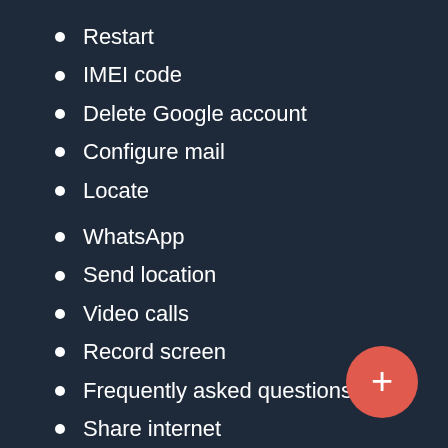Restart
IMEI code
Delete Google account
Configure mail
Locate
WhatsApp
Send location
Video calls
Record screen
Frequently asked questions
Share internet
Change language
Delete language
[Figure (other): Red circular FAB button with plus icon]